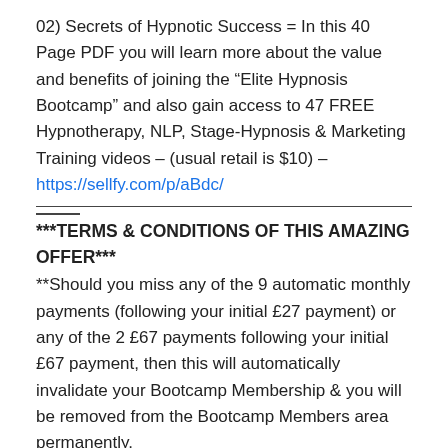02) Secrets of Hypnotic Success = In this 40 Page PDF you will learn more about the value and benefits of joining the “Elite Hypnosis Bootcamp” and also gain access to 47 FREE Hypnotherapy, NLP, Stage-Hypnosis & Marketing Training videos – (usual retail is $10) – https://sellfy.com/p/aBdc/
***TERMS & CONDITIONS OF THIS AMAZING OFFER***
**Should you miss any of the 9 automatic monthly payments (following your initial £27 payment) or any of the 2 £67 payments following your initial £67 payment, then this will automatically invalidate your Bootcamp Membership & you will be removed from the Bootcamp Members area permanently.